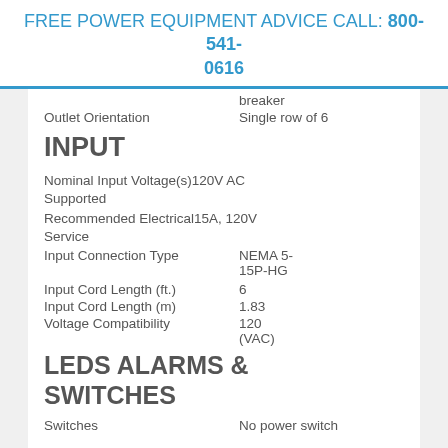FREE POWER EQUIPMENT ADVICE CALL: 800-541-0616
breaker
Outlet Orientation    Single row of 6
INPUT
Nominal Input Voltage(s)120V AC Supported
Recommended Electrical15A, 120V Service
Input Connection Type    NEMA 5-15P-HG
Input Cord Length (ft.)    6
Input Cord Length (m)    1.83
Voltage Compatibility    120 (VAC)
LEDS ALARMS & SWITCHES
Switches    No power switch